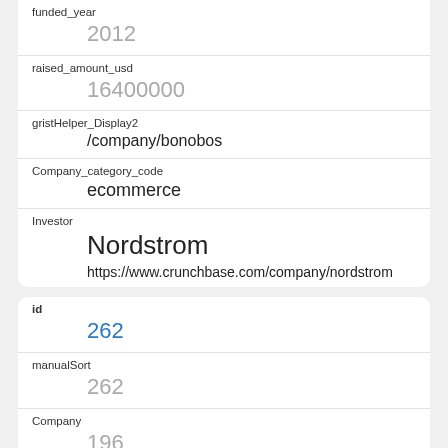| Field | Value |
| --- | --- |
| funded_year | 2012 |
| raised_amount_usd | 16400000 |
| gristHelper_Display2 | /company/bonobos |
| Company_category_code | ecommerce |
| Investor | Nordstrom
https://www.crunchbase.com/company/nordstrom |
| Field | Value |
| --- | --- |
| id | 262 |
| manualSort | 262 |
| Company | 196 |
| investor_permalink | /company/nordstrom |
| investor_name |  |